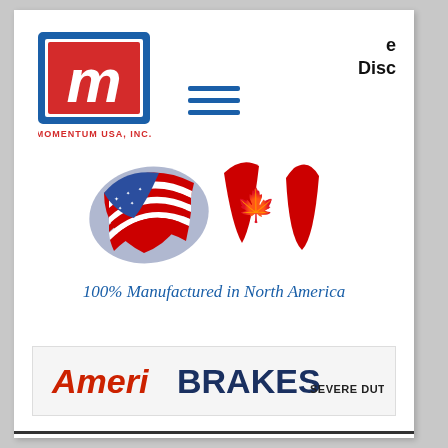[Figure (logo): Momentum USA Inc. logo - red M in blue bordered square with MOMENTUM USA, INC. text below]
e
Disc
[Figure (illustration): Hamburger menu icon - three horizontal blue lines]
[Figure (logo): USA and Canada flags intertwined ribbon graphic with text 100% Manufactured in North America in blue script]
[Figure (logo): AmeriBRAKES SEVERE DUTY logo - Ameri in red, BRAKES in dark blue, SEVERE DUTY in black small caps]